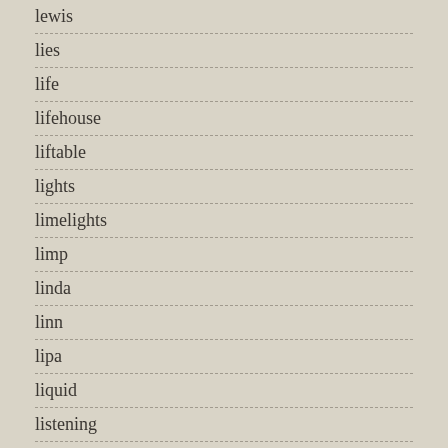lewis
lies
life
lifehouse
liftable
lights
limelights
limp
linda
linn
lipa
liquid
listening
litter
little